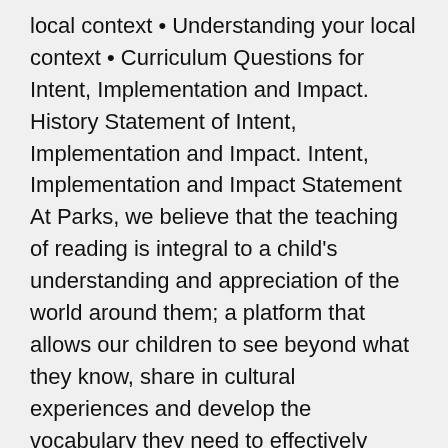local context • Understanding your local context • Curriculum Questions for Intent, Implementation and Impact. History Statement of Intent, Implementation and Impact. Intent, Implementation and Impact Statement At Parks, we believe that the teaching of reading is integral to a child's understanding and appreciation of the world around them; a platform that allows our children to see beyond what they know, share in cultural experiences and develop the vocabulary they need to effectively express themselves. Focus on curriculum intent, implementation and impact. Spring Term 2021; Autumn Term 2020; Summer Term 2020. #Let your light shine . It is neither a core nor a foundation subject; the 1988 Education Act states that 'Religious Education has equal standing in relation to core subjects of the National Curriculum in… Following on from this blog, I will